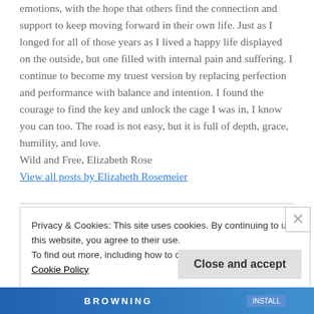emotions, with the hope that others find the connection and support to keep moving forward in their own life. Just as I longed for all of those years as I lived a happy life displayed on the outside, but one filled with internal pain and suffering. I continue to become my truest version by replacing perfection and performance with balance and intention. I found the courage to find the key and unlock the cage I was in, I know you can too. The road is not easy, but it is full of depth, grace, humility, and love.
Wild and Free, Elizabeth Rose
View all posts by Elizabeth Rosemeier
Privacy & Cookies: This site uses cookies. By continuing to use this website, you agree to their use.
To find out more, including how to control cookies, see here:
Cookie Policy
Close and accept